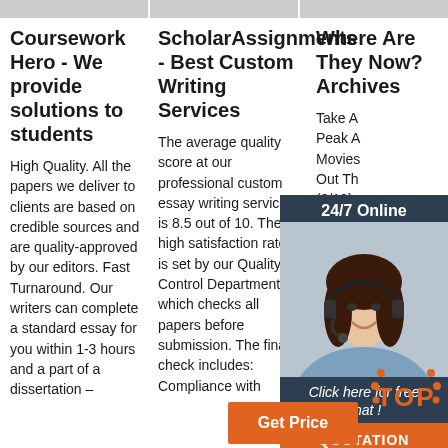Coursework Hero - We provide solutions to students
High Quality. All the papers we deliver to clients are based on credible sources and are quality-approved by our editors. Fast Turnaround. Our writers can complete a standard essay for you within 1-3 hours and a part of a dissertation –
ScholarAssignments - Best Custom Writing Services
The average quality score at our professional custom essay writing service is 8.5 out of 10. The high satisfaction rate is set by our Quality Control Department, which checks all papers before submission. The final check includes: Compliance with
Where Are They Now? Archives
Take A Peak A Movies Out Th (8/12) Cast: V They N Tweets 2021 A Music . Pittsburg Theaters: A Complete Guide
[Figure (infographic): Customer support widget with '24/7 Online' header, photo of woman with headset, 'Click here for free chat!' text, and orange QUOTATION button]
[Figure (logo): TOP badge logo with orange dots and letters TOP]
[Figure (infographic): Orange 'Get Price' button]